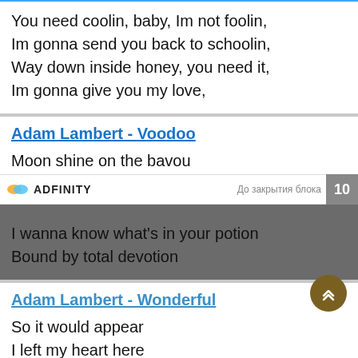You need coolin, baby, Im not foolin,
Im gonna send you back to schoolin,
Way down inside honey, you need it,
Im gonna give you my love,
Adam Lambert - Voodoo
Moon shine on the bavou
[Figure (screenshot): Adfinity advertisement bar with logo and countdown timer showing 10]
I wanna know what's in your potion
Bound by total devotion
Adam Lambert - Wonderful
So it would appear
I left my heart here
And it would be fair to say
I've been swept away
Adam Lambert - Trespassing